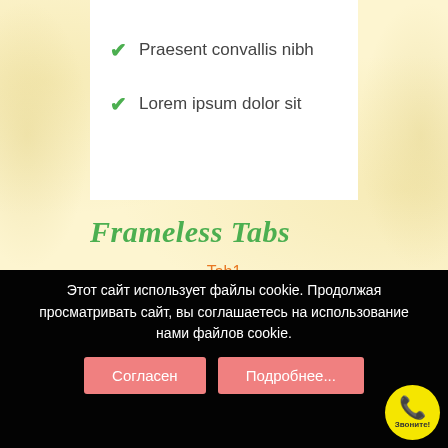✔ Praesent convallis nibh
✔ Lorem ipsum dolor sit
Frameless Tabs
Tab1
Tab2
Этот сайт использует файлы cookie. Продолжая просматривать сайт, вы соглашаетесь на использование нами файлов cookie.
Согласен
Подробнее...
[Figure (illustration): Yellow circular call button with phone icon and 'Звоните!' label]